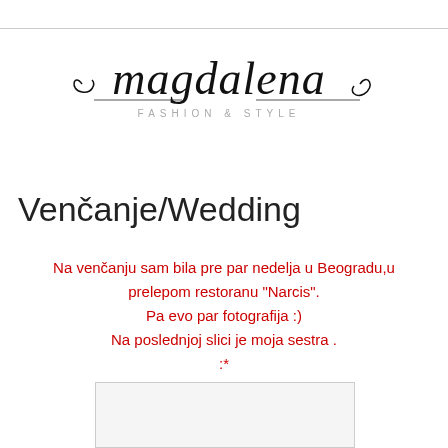[Figure (logo): Magdalena Fashion & Style cursive script logo with decorative flourishes and horizontal lines]
Venčanje/Wedding
Na venčanju sam bila pre par nedelja u Beogradu,u prelepom restoranu "Narcis".
Pa evo par fotografija :)
Na poslednjoj slici je moja sestra .
:*
[Figure (photo): White/blank photo placeholder box]